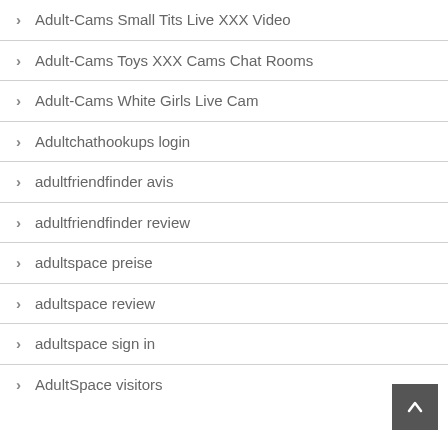Adult-Cams Small Tits Live XXX Video
Adult-Cams Toys XXX Cams Chat Rooms
Adult-Cams White Girls Live Cam
Adultchathookups login
adultfriendfinder avis
adultfriendfinder review
adultspace preise
adultspace review
adultspace sign in
AdultSpace visitors